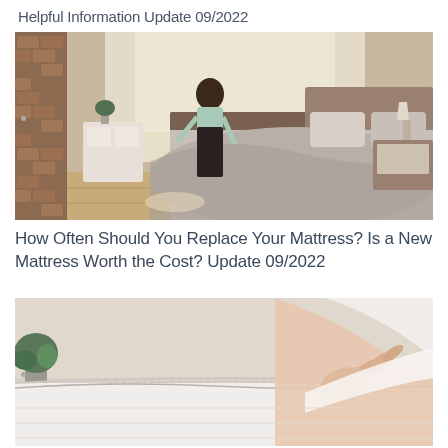Helpful Information Update 09/2022
[Figure (photo): Woman with curly hair making a bed in a sunlit bedroom with brick pillar, wooden floor, and gray bedding]
How Often Should You Replace Your Mattress? Is a New Mattress Worth the Cost? Update 09/2022
[Figure (photo): Close-up of a hand pressing down on a white mattress edge, with a potted plant in the background]